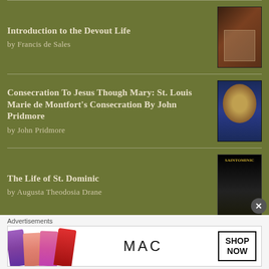Introduction to the Devout Life by Francis de Sales
[Figure (illustration): Book cover for Introduction to the Devout Life]
Consecration To Jesus Though Mary: St. Louis Marie de Montfort's Consecration By John Pridmore by John Pridmore
[Figure (illustration): Book cover for Consecration To Jesus Though Mary]
The Life of St. Dominic by Augusta Theodosia Drane
[Figure (illustration): Book cover for The Life of St. Dominic]
St. Francis of Assisi by G.K. Chesterton
[Figure (illustration): Book cover for St. Francis of Assisi]
Advertisements
[Figure (photo): MAC cosmetics advertisement showing lipsticks with SHOP NOW call to action]